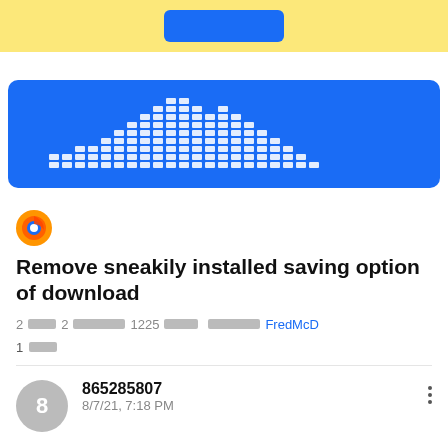[Figure (screenshot): Yellow banner with a blue button in the center]
[Figure (screenshot): Blue banner with white equalizer/bar chart graphic pattern]
[Figure (logo): Firefox browser logo (flame/fox icon)]
Remove sneakily installed saving option of download
2 [blocks] 2 [blocks] 1225 [blocks] [blocks] FredMcD
1 [blocks]
865285807
8/7/21, 7:18 PM